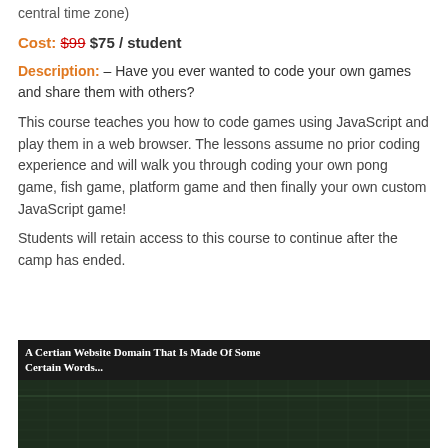central time zone)
Cost: $99 $75 / student
Description: – Have you ever wanted to code your own games and share them with others?
This course teaches you how to code games using JavaScript and play them in a web browser. The lessons assume no prior coding experience and will walk you through coding your own pong game, fish game, platform game and then finally your own custom JavaScript game!
Students will retain access to this course to continue after the camp has ended.
[Figure (screenshot): Screenshot of a website titled 'A Certian Website Domain That Is Made Of Some Certain Words...' with a dark background and grid lines, showing 'Some Stuff about Me' section with colorful 'Awesome!' text]